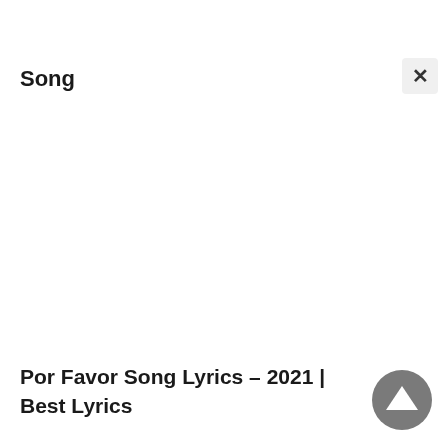Song
Por Favor Song Lyrics – 2021 | Best Lyrics